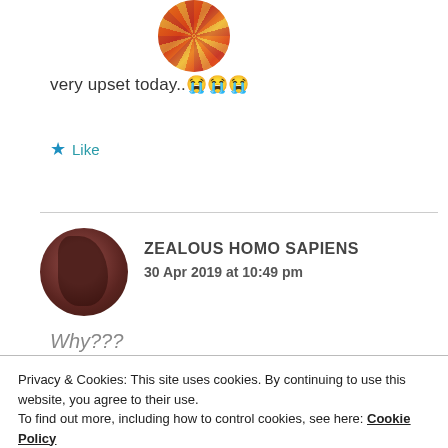[Figure (photo): Circular user avatar at top, colorful decorative image]
very upset today..😭😭😭
★ Like
[Figure (photo): Circular user avatar, dark reddish tones, person with dark hair]
ZEALOUS HOMO SAPIENS
30 Apr 2019 at 10:49 pm
Why???
Privacy & Cookies: This site uses cookies. By continuing to use this website, you agree to their use.
To find out more, including how to control cookies, see here: Cookie Policy
Close and accept